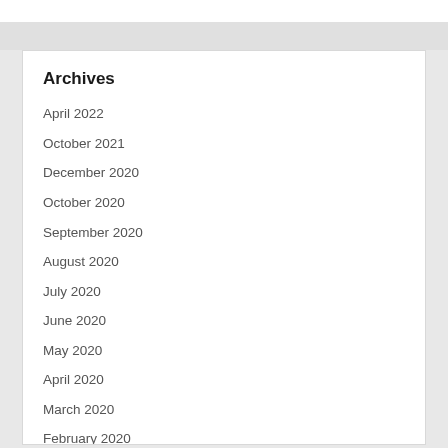Archives
April 2022
October 2021
December 2020
October 2020
September 2020
August 2020
July 2020
June 2020
May 2020
April 2020
March 2020
February 2020
December 2017
October 2017